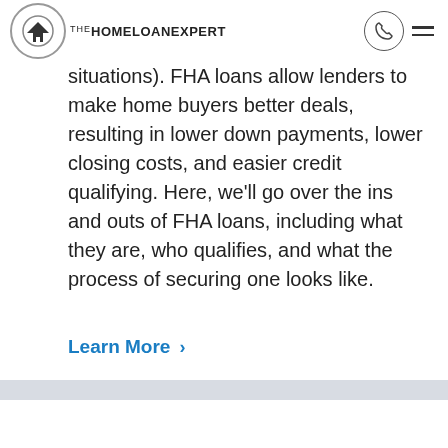THE HOME LOAN EXPERT [logo with phone icon and hamburger menu]
also achieving the dream of owning a home (even while facing tough financial situations). FHA loans allow lenders to make home buyers better deals, resulting in lower down payments, lower closing costs, and easier credit qualifying. Here, we'll go over the ins and outs of FHA loans, including what they are, who qualifies, and what the process of securing one looks like.
Learn More >